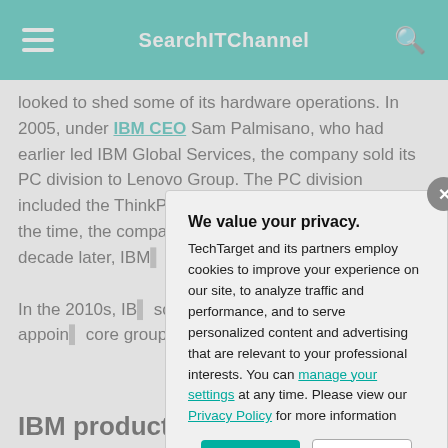SearchITChannel
looked to shed some of its hardware operations. In 2005, under IBM CEO Sam Palmisano, who had earlier led IBM Global Services, the company sold its PC division to Lenovo Group. The PC division included the ThinkPad line of notebook computers. At the time, the companies inked... became Lenovo... decade later, IBM... Lenovo: Big Blue...
In the 2010s, IBM... solutions and clo... Rometty, appoin... core group of str... cloud, mobility a...
IBM product...
We value your privacy.
TechTarget and its partners employ cookies to improve your experience on our site, to analyze traffic and performance, and to serve personalized content and advertising that are relevant to your professional interests. You can manage your settings at any time. Please view our Privacy Policy for more information